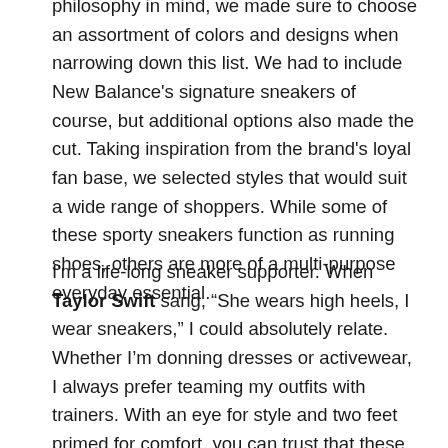philosophy in mind, we made sure to choose an assortment of colors and designs when narrowing down this list. We had to include New Balance's signature sneakers of course, but additional options also made the cut. Taking inspiration from the brand's loyal fan base, we selected styles that would suit a wide range of shoppers. While some of these sporty sneakers function as running shoes, others are more of a multi-purpose everyday essential.
I'm a life-long sneaker supporter. When Taylor Swift sang, “She wears high heels, I wear sneakers,” I could absolutely relate. Whether I’m donning dresses or activewear, I always prefer teaming my outfits with trainers. With an eye for style and two feet primed for comfort, you can trust that these shoe suggestions are coming from a reliable source.